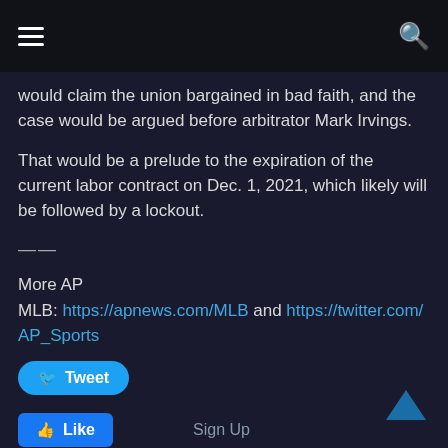☰  [menu icon]  Q [search icon]
would claim the union bargained in bad faith, and the case would be argued before arbitrator Mark Irvings.
That would be a prelude to the expiration of the current labor contract on Dec. 1, 2021, which likely will be followed by a lockout.
——
More AP MLB: https://apnews.com/MLB and https://twitter.com/AP_Sports
Tweet  Like  Sign Up